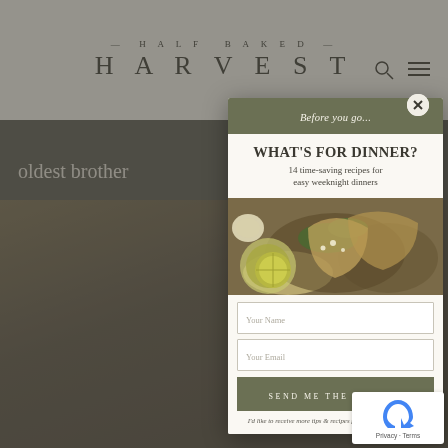HALF BAKED HARVEST
oldest brother
[Figure (screenshot): Modal popup overlay on Half Baked Harvest food blog. Header reads 'Before you go...' in olive green bar. Title 'WHAT'S FOR DINNER?' with subtitle '14 time-saving recipes for easy weeknight dinners'. Food photograph showing tacos/flatbreads with cilantro, lime, and cheese. Form fields for Your Name and Your Email. Button 'SEND ME THE RECIPES'. Disclaimer text below.]
I'd like to receive more tips & recipes from Half Baked Harvest.